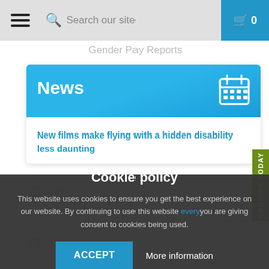Search our site | 🛒 0
Gender Pay Reports
News
New films make flying with a hidden disability less daunting
31 Ma...
28 Ma...
Cookie policy
This website uses cookies to ensure you get the best experience on our website. By continuing to use this website you are giving consent to cookies being used.
ACCEPT | More information